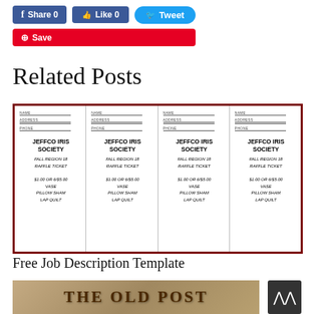[Figure (screenshot): Social sharing buttons: Facebook Share 0, Like 0, Tweet, and Pinterest Save]
Related Posts
[Figure (illustration): Jeffco Iris Society Fall Region 18 Raffle Ticket sheet showing 4 identical tickets. Each ticket has fields for NAME, ADDRESS, PHONE and text: JEFFCO IRIS SOCIETY, FALL REGION 18 RAFFLE TICKET, $1.00 OR 6/$5.00, VASE, PILLOW SHAM, LAP QUILT. The sheet has a dark red border.]
Free Job Description Template
[Figure (photo): Partial image showing 'THE OLD POST' text on a aged/textured background, partially cut off at bottom of page]